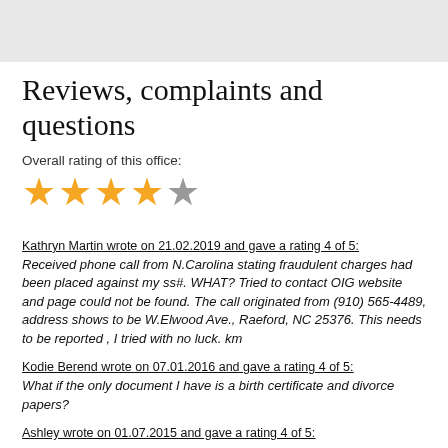Reviews, complaints and questions
Overall rating of this office:
[Figure (other): 4 out of 5 stars rating — four filled gold stars and one empty grey star]
Kathryn Martin wrote on 21.02.2019 and gave a rating 4 of 5:
Received phone call from N.Carolina stating fraudulent charges had been placed against my ss#. WHAT? Tried to contact OIG website and page could not be found. The call originated from (910) 565-4489, address shows to be W.Elwood Ave., Raeford, NC 25376. This needs to be reported , I tried with no luck. km
Kodie Berend wrote on 07.01.2016 and gave a rating 4 of 5:
What if the only document I have is a birth certificate and divorce papers?
Ashley wrote on 01.07.2015 and gave a rating 4 of 5: